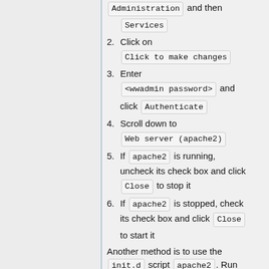Administration and then Services
2. Click on Click to make changes
3. Enter <wwadmin password> and click Authenticate
4. Scroll down to Web server (apache2)
5. If apache2 is running, uncheck its check box and click Close to stop it
6. If apache2 is stopped, check its check box and click Close to start it
Another method is to use the init.d script apache2. Run